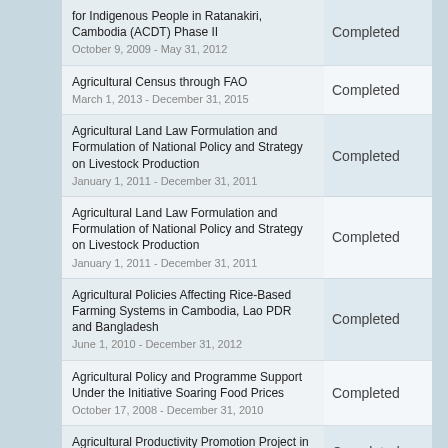| Project | Status |
| --- | --- |
| for Indigenous People in Ratanakiri, Cambodia (ACDT) Phase II
October 9, 2009 - May 31, 2012 | Completed |
| Agricultural Census through FAO
March 1, 2013 - December 31, 2015 | Completed |
| Agricultural Land Law Formulation and Formulation of National Policy and Strategy on Livestock Production
January 1, 2011 - December 31, 2011 | Completed |
| Agricultural Land Law Formulation and Formulation of National Policy and Strategy on Livestock Production
January 1, 2011 - December 31, 2011 | Completed |
| Agricultural Policies Affecting Rice-Based Farming Systems in Cambodia, Lao PDR and Bangladesh
June 1, 2010 - December 31, 2012 | Completed |
| Agricultural Policy and Programme Support Under the Initiative Soaring Food Prices
October 17, 2008 - December 31, 2010 | Completed |
| Agricultural Productivity Promotion Project in West Tonle Sap | Completed |